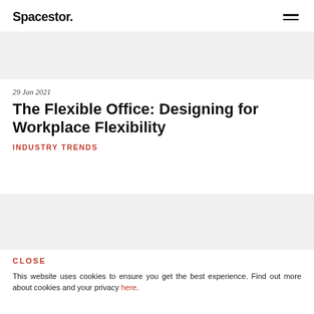Spacestor.
[Figure (other): Gray placeholder image banner at top of page]
29 Jan 2021
The Flexible Office: Designing for Workplace Flexibility
INDUSTRY TRENDS
[Figure (other): Gray placeholder image banner in lower section]
CLOSE
This website uses cookies to ensure you get the best experience. Find out more about cookies and your privacy here.